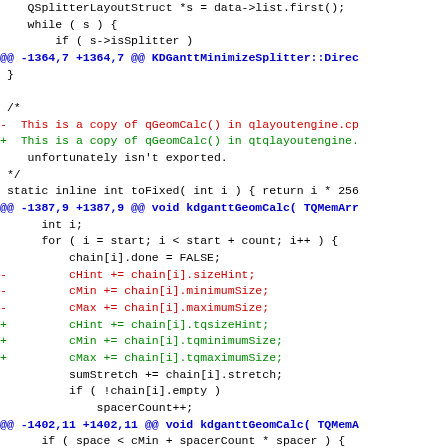Unified diff / patch code snippet showing changes in KDGantt source files